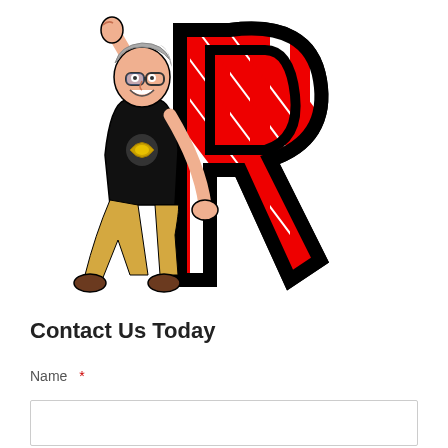[Figure (illustration): Cartoon illustration of a middle-aged man with gray hair, glasses, black t-shirt with a logo, tan/yellow pants, brown shoes, with one fist raised in the air. He is holding or interacting with a large stylized letter 'R' decorated with red and white diagonal stripes (like a candy cane or barber pole pattern), outlined in black. The figure appears energetic, flying or leaping.]
Contact Us Today
Name  *